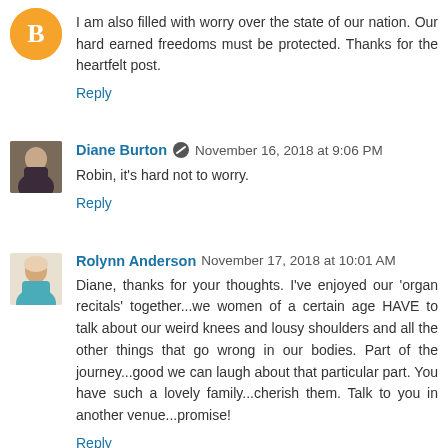I am also filled with worry over the state of our nation. Our hard earned freedoms must be protected. Thanks for the heartfelt post.
Reply
Diane Burton  November 16, 2018 at 9:06 PM
Robin, it's hard not to worry.
Reply
Rolynn Anderson  November 17, 2018 at 10:01 AM
Diane, thanks for your thoughts. I've enjoyed our 'organ recitals' together...we women of a certain age HAVE to talk about our weird knees and lousy shoulders and all the other things that go wrong in our bodies. Part of the journey...good we can laugh about that particular part. You have such a lovely family...cherish them. Talk to you in another venue...promise!
Reply